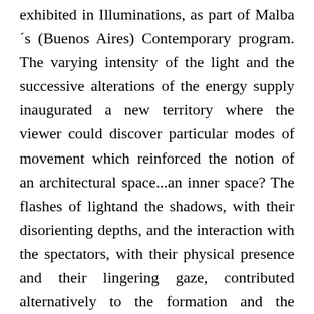exhibited in Illuminations, as part of Malba´s (Buenos Aires) Contemporary program. The varying intensity of the light and the successive alterations of the energy supply inaugurated a new territory where the viewer could discover particular modes of movement which reinforced the notion of an architectural space...an inner space? The flashes of lightand the shadows, with their disorienting depths, and the interaction with the spectators, with their physical presence and their lingering gaze, contributed alternatively to the formation and the dissolution of new spatial structures, forms and objects. Dazzling and delighting, the glitter of the installation Cascada (Waterfall) (2006) appeared sporadically, as in a celebration, through successive